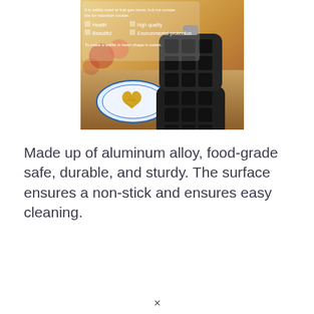[Figure (photo): A heart-shaped waffle maker (black non-stick aluminum alloy) shown open, with heart-shaped waffles on a blue and white plate beside it on a wooden surface. Overlay text reads: 'It is safely used at fuel gas stove, but not compatible for induction cooker.' with icons for Health, High-quality, Beautiful, Environmental-protection. Tagline: 'To make a waffle in heart shape in sweet.']
Made up of aluminum alloy, food-grade safe, durable, and sturdy. The surface ensures a non-stick and ensures easy cleaning.